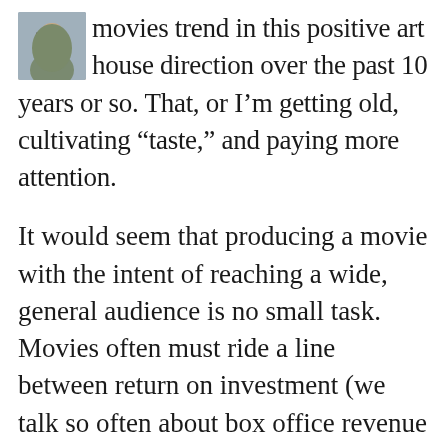[Figure (photo): Small square profile photo of a person wearing glasses, positioned top-left overlapping the first paragraph text.]
movies trend in this positive art house direction over the past 10 years or so. That, or I'm getting old, cultivating “taste,” and paying more attention.
It would seem that producing a movie with the intent of reaching a wide, general audience is no small task. Movies often must ride a line between return on investment (we talk so often about box office revenue as a measure of success) and artistic vision. Before the advent of cheap film (or digital) you had to be darn well sure that people would pay to watch your movie, and so a compelling story or catchy